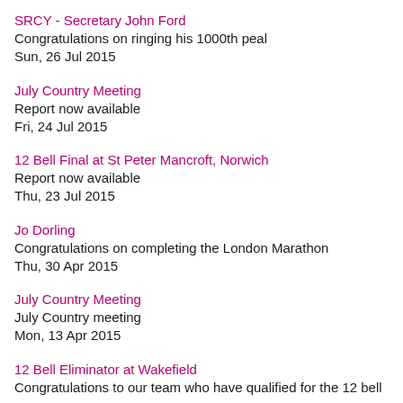SRCY - Secretary John Ford
Congratulations on ringing his 1000th peal
Sun, 26 Jul 2015
July Country Meeting
Report now available
Fri, 24 Jul 2015
12 Bell Final at St Peter Mancroft, Norwich
Report now available
Thu, 23 Jul 2015
Jo Dorling
Congratulations on completing the London Marathon
Thu, 30 Apr 2015
July Country Meeting
July Country meeting
Mon, 13 Apr 2015
12 Bell Eliminator at Wakefield
Congratulations to our team who have qualified for the 12 bell